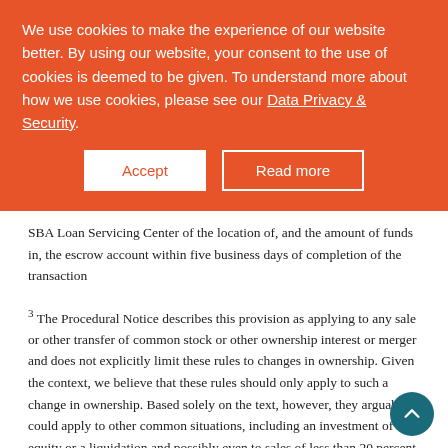SBA Loan Servicing Center of the location of, and the amount of funds in, the escrow account within five business days of completion of the transaction
[Figure (other): Cookie consent overlay banner with orange background. Text: 'We use cookies to make the experience of our website better. By using our website, your consent to the use of cookies is deemed to be given. To understand more about how we use cookies, please see our Data Privacy & Security.' Two buttons: 'Accept' (white background) and 'Read more' (outlined).]
3 The Procedural Notice describes this provision as applying to any sale or other transfer of common stock or other ownership interest or merger and does not explicitly limit these rules to changes in ownership. Given the context, we believe that these rules should only apply to such a change in ownership. Based solely on the text, however, they arguably could apply to other common situations, including an investment of equity or a liquidation and possibly even to sales of less than 20 percent of the common stock.